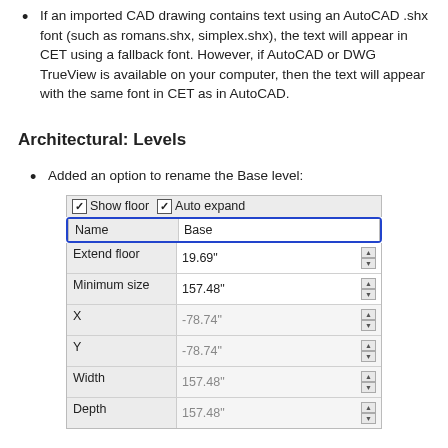If an imported CAD drawing contains text using an AutoCAD .shx font (such as romans.shx, simplex.shx), the text will appear in CET using a fallback font. However, if AutoCAD or DWG TrueView is available on your computer, then the text will appear with the same font in CET as in AutoCAD.
Architectural: Levels
Added an option to rename the Base level:
[Figure (screenshot): UI panel showing floor level settings with checkboxes for Show floor and Auto expand, and fields: Name (Base, highlighted in blue border), Extend floor (19.69"), Minimum size (157.48"), X (-78.74"), Y (-78.74"), Width (157.48"), Depth (157.48")]